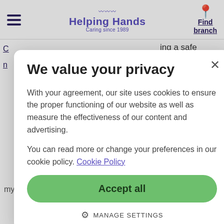Helping Hands — Caring since 1989
ing a safe
lity to
ensure we
duals care
n the
ly
vide at
ce. As a
improve in
o better
dge and
n my spare
es,
l ti...
We value your privacy
With your agreement, our site uses cookies to ensure the proper functioning of our website as well as measure the effectiveness of our content and advertising.
You can read more or change your preferences in our cookie policy. Cookie Policy
Accept all
MANAGE SETTINGS
my family.
Chat now